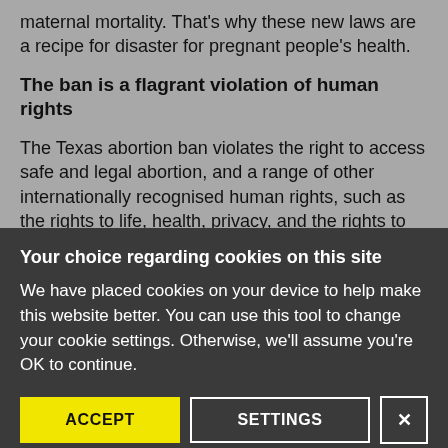maternal mortality. That's why these new laws are a recipe for disaster for pregnant people's health.
The ban is a flagrant violation of human rights
The Texas abortion ban violates the right to access safe and legal abortion, and a range of other internationally recognised human rights, such as the rights to life, health, privacy, and the rights to
Your choice regarding cookies on this site
We have placed cookies on your device to help make this website better. You can use this tool to change your cookie settings. Otherwise, we'll assume you're OK to continue.